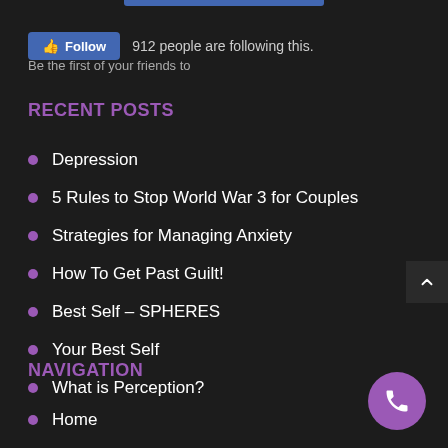[Figure (screenshot): Facebook Follow button widget showing 'Follow' button in blue with thumbs up icon and text '912 people are following this.' with partially visible subtext 'Be the first of your friends to']
RECENT POSTS
Depression
5 Rules to Stop World War 3 for Couples
Strategies for Managing Anxiety
How To Get Past Guilt!
Best Self – SPHERES
Your Best Self
What is Perception?
NAVIGATION
Home